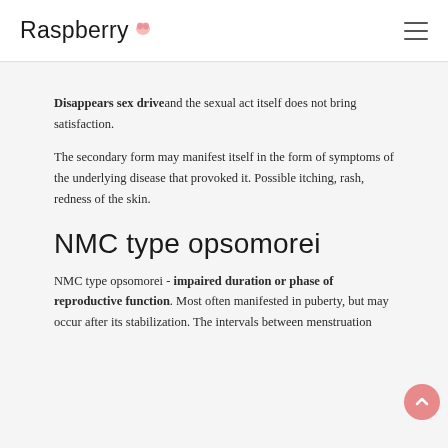Raspberry
Disappears sex drive and the sexual act itself does not bring satisfaction.
The secondary form may manifest itself in the form of symptoms of the underlying disease that provoked it. Possible itching, rash, redness of the skin.
NMC type opsomorei
NMC type opsomorei - impaired duration or phase of reproductive function. Most often manifested in puberty, but may occur after its stabilization. The intervals between menstruation